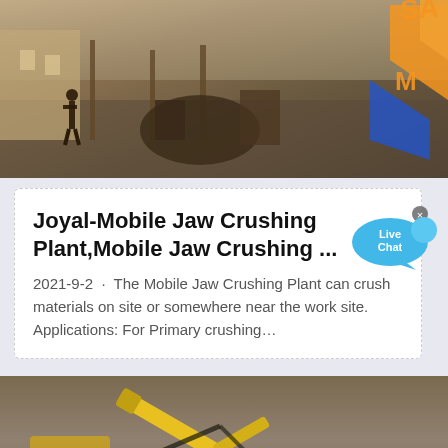[Figure (photo): Outdoor photo of a mobile jaw crushing plant / heavy construction machinery site with orange and blue SAM logo visible in top right corner]
Joyal-Mobile Jaw Crushing Plant,Mobile Jaw Crushing ...
2021-9-2 · The Mobile Jaw Crushing Plant can crush materials on site or somewhere near the work site. Applications: For Primary crushing…
[Figure (photo): Aerial photo of a yellow excavator arm working in dirt/gravel ground]